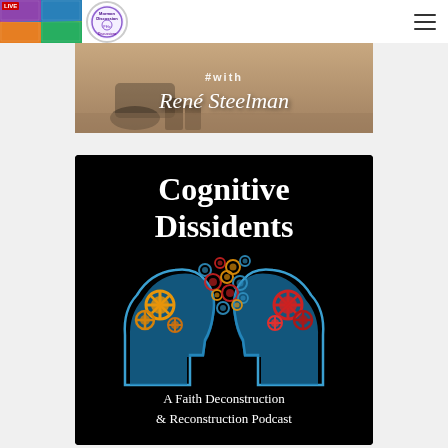Mormon Discussion / Hamburger menu
[Figure (photo): Banner image with text 'with René Steelman' in cursive script over a motorcycle/road background]
[Figure (illustration): Cognitive Dissidents podcast cover art: black background with 'Cognitive Dissidents' in white serif bold text, two blue human head profiles facing each other with colorful gears (orange/gold on left, red on right) flowing between them. Subtitle: A Faith Deconstruction & Reconstruction Podcast]